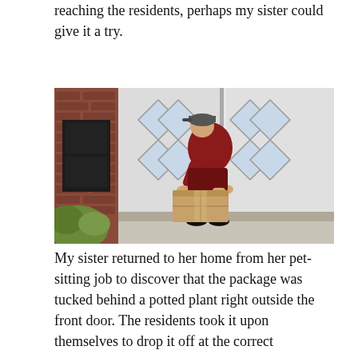reaching the residents, perhaps my sister could give it a try.
[Figure (photo): A delivery person in a red shirt, red shorts, gray cap, and black boots bending down to place a cardboard box on a front porch step in front of white double doors with diamond-patterned windows and a dark door on the left, with a green bush visible in the lower left.]
My sister returned to her home from her pet-sitting job to discover that the package was tucked behind a potted plant right outside the front door. The residents took it upon themselves to drop it off at the correct